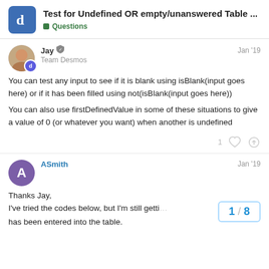Test for Undefined OR empty/unanswered Table … | Questions
You can test any input to see if it is blank using isBlank(input goes here) or if it has been filled using not(isBlank(input goes here))
You can also use firstDefinedValue in some of these situations to give a value of 0 (or whatever you want) when another is undefined
Thanks Jay,
I've tried the codes below, but I'm still getti…
has been entered into the table.